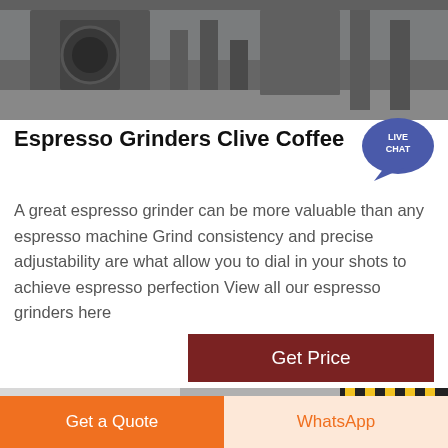[Figure (photo): Industrial espresso grinder machinery in grayscale, with metal frames and large wheel/disc components]
Espresso Grinders Clive Coffee
[Figure (other): Live Chat speech bubble badge in teal/blue color with text LIVE CHAT]
A great espresso grinder can be more valuable than any espresso machine Grind consistency and precise adjustability are what allow you to dial in your shots to achieve espresso perfection View all our espresso grinders here
[Figure (other): Get Price button in dark red/maroon color]
[Figure (photo): Industrial coffee grinder equipment in a facility with yellow railing and blue machinery]
Get a Quote
WhatsApp